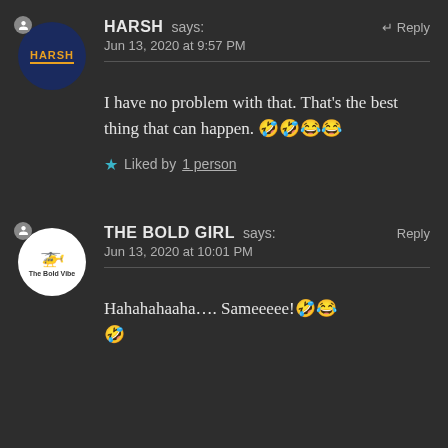HARSH says: Jun 13, 2020 at 9:57 PM ↵ Reply
I have no problem with that. That's the best thing that can happen. 🤣🤣😂😂
★ Liked by 1 person
THE BOLD GIRL says: Jun 13, 2020 at 10:01 PM ↵ Reply
Hahahahaaha…. Sameeeee!🤣😂 🤣